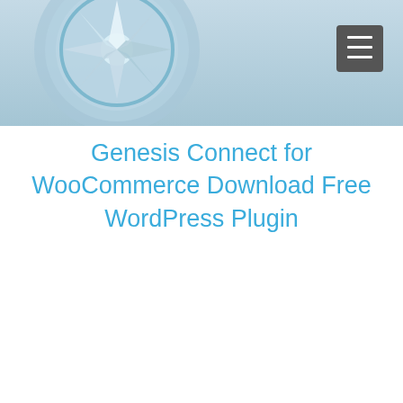[Figure (illustration): Website header banner with a circular logo/emblem on the left featuring blue and white star/compass design on a light blue gradient background, and a dark gray hamburger menu button icon in the top right corner]
Genesis Connect for WooCommerce Download Free WordPress Plugin